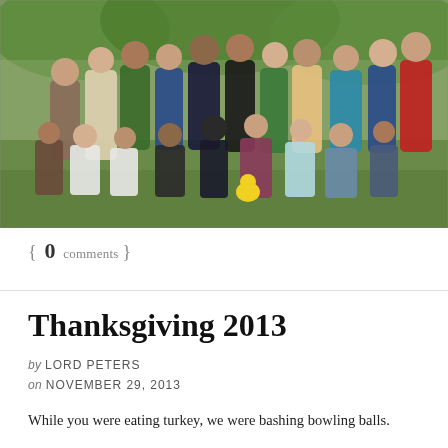[Figure (photo): Group photo of approximately 25 people in various costumes and outfits standing and kneeling outdoors in a park with trees in the background.]
{ 0 comments }
Thanksgiving 2013
by LORD PETERS
on NOVEMBER 29, 2013
While you were eating turkey, we were bashing bowling balls.